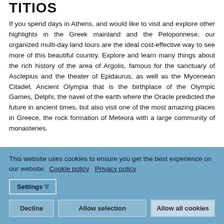TITIOS
If you spend days in Athens, and would like to visit and explore other highlights in the Greek mainland and the Peloponnese, our organized multi-day land tours are the ideal cost-effective way to see more of this beautiful country. Explore and learn many things about the rich history of the area of Argolis, famous for the sanctuary of Asclepius and the theater of Epidaurus, as well as the Mycenean Citadel, Ancient Olympia that is the birthplace of the Olympic Games, Delphi, the navel of the earth where the Oracle predicted the future in ancient times, but also visit one of the most amazing places in Greece, the rock formation of Meteora with a large community of monasteries.
This website uses cookies to ensure you get the best experience on our website. Cookie policy Privacy policy
Settings
Decline
Allow selection
Allow all cookies